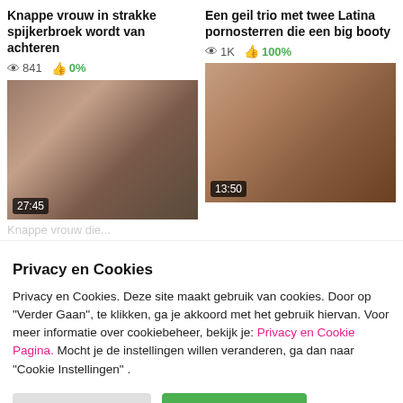Knappe vrouw in strakke spijkerbroek wordt van achteren
841 views · 0% likes
[Figure (screenshot): Video thumbnail showing adult content, duration 27:45]
Een geil trio met twee Latina pornosterren die een big booty
1K views · 100% likes
[Figure (screenshot): Video thumbnail showing adult content, duration 13:50]
Privacy en Cookies
Privacy en Cookies. Deze site maakt gebruik van cookies. Door op "Verder Gaan", te klikken, ga je akkoord met het gebruik hiervan. Voor meer informatie over cookiebeheer, bekijk je: Privacy en Cookie Pagina. Mocht je de instellingen willen veranderen, ga dan naar "Cookie Instellingen" .
Cookie Instellingen | Alles Accepteren